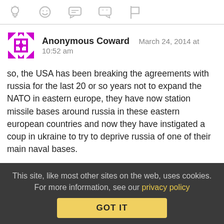[icon toolbar: lightbulb, smiley, chat bubble, quote bubble, flag]
Anonymous Coward   March 24, 2014 at 10:52 am
so, the USA has been breaking the agreements with russia for the last 20 or so years not to expand the NATO in eastern europe, they have now station missile bases around russia in these eastern european countries and now they have instigated a coup in ukraine to try to deprive russia of one of their main naval bases.

And russia is tthe agressor in protecting their justified interests?

The USA and the rest of the western countries have broken international law countless times, in Irak, syria, serbia and so on
This site, like most other sites on the web, uses cookies. For more information, see our privacy policy
GOT IT